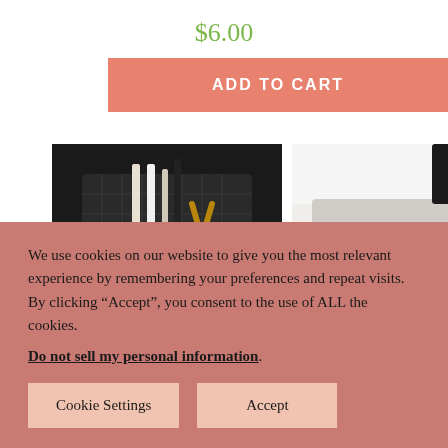$6.00
ADD TO CART
[Figure (photo): Black mesh desk organizer holding pens, scissors, and clips]
[Figure (photo): Gray notebook with paper clips and white keyboard on white desk surface]
We use cookies on our website to give you the most relevant experience by remembering your preferences and repeat visits. By clicking “Accept”, you consent to the use of ALL the cookies.
Do not sell my personal information.
Cookie Settings
Accept